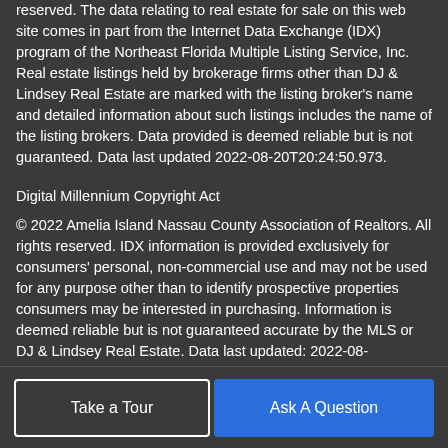reserved. The data relating to real estate for sale on this web site comes in part from the Internet Data Exchange (IDX) program of the Northeast Florida Multiple Listing Service, Inc. Real estate listings held by brokerage firms other than DJ & Lindsey Real Estate are marked with the listing broker's name and detailed information about such listings includes the name of the listing brokers. Data provided is deemed reliable but is not guaranteed. Data last updated 2022-08-20T20:24:50.973.
Digital Millennium Copyright Act
© 2022 Amelia Island Nassau County Association of Realtors. All rights reserved. IDX information is provided exclusively for consumers' personal, non-commercial use and may not be used for any purpose other than to identify prospective properties consumers may be interested in purchasing. Information is deemed reliable but is not guaranteed accurate by the MLS or DJ & Lindsey Real Estate. Data last updated: 2022-08-20T20:24:50.973.
Take a Tour | Ask A Question